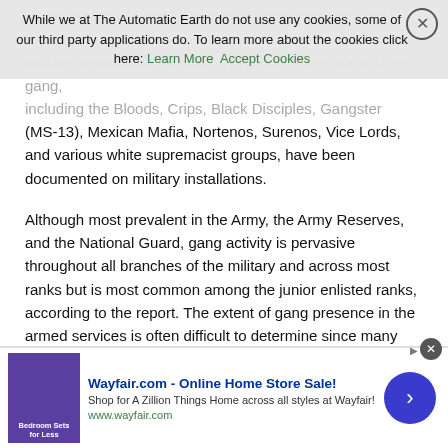While we at The Automatic Earth do not use any cookies, some of our third party applications do. To learn more about the cookies click here: Learn More  Accept Cookies
street gang have been identified on both domestic and foreign military installations. Members of nearly every major street gang, including the Bloods, Crips, Black Disciples, Gangster Disciples, Hells Angels, Almighty Latin King Nation, and Mara Salvatrucha (MS-13), Mexican Mafia, Nortenos, Surenos, Vice Lords, and various white supremacist groups, have been documented on military installations.
Although most prevalent in the Army, the Army Reserves, and the National Guard, gang activity is pervasive throughout all branches of the military and across most ranks but is most common among the junior enlisted ranks, according to the report. The extent of gang presence in the armed services is often difficult to determine since many enlisted gang members conceal their gang affiliation and military authorities may not recognize gang affiliation or may be inclined not to report such incidences.
I can't find it now but something like 30k military members have joined to receive a green card.
January 15, 2021 at 5:01 pm    #68385
[Figure (other): Wayfair.com advertisement banner: Online Home Store Sale! Shop for A Zillion Things Home across all styles at Wayfair! www.wayfair.com with bedroom sets image and arrow button]